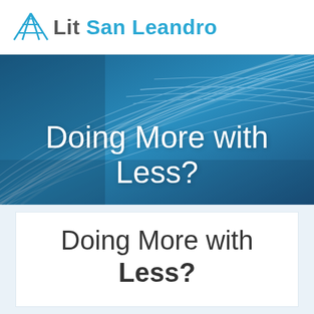Lit San Leandro
[Figure (photo): Fiber optic cables close-up with blue tones, used as a hero banner image with text overlay 'Doing More with Less?']
Doing More with Less?